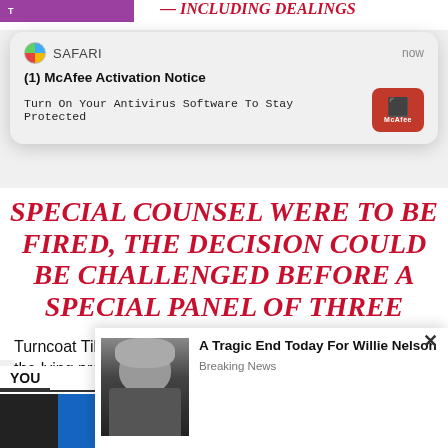[Figure (screenshot): Safari browser notification popup: '(1) McAfee Activation Notice' with text 'Turn On Your Antivirus Software To Stay Protected' and McAfee red icon button]
SPECIAL COUNSEL WERE TO BE FIRED, THE DECISION COULD BE CHALLENGED BEFORE A SPECIAL PANEL OF THREE FEDERAL JUDGES.
Turncoat Tillis went straight to CNN to bask in praise from the lying press.
[Figure (screenshot): Ad popup overlay showing a photo of Willie Nelson with headline 'A Tragic End Today For Willie Nelson' and subtext 'Breaking News']